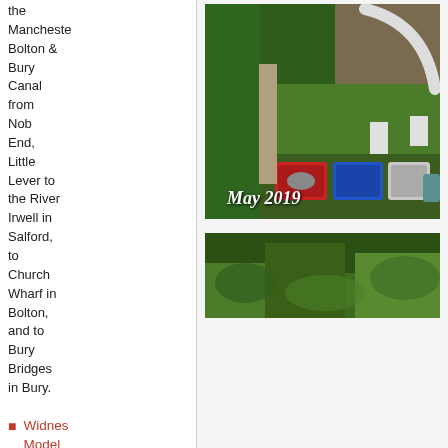the Manchester Bolton & Bury Canal from Nob End, Little Lever to the River Irwell in Salford, to Church Wharf in Bolton, and to Bury Bridges in Bury.
[Figure (photo): Aerial view of a garden railway track layout with colorful containers (red, blue, white) in the foreground and green hedges in the background. Caption reads 'May 2019'.]
Widnes Model Centre
[Figure (photo): A garden scene with green foliage and plants, partial view.]